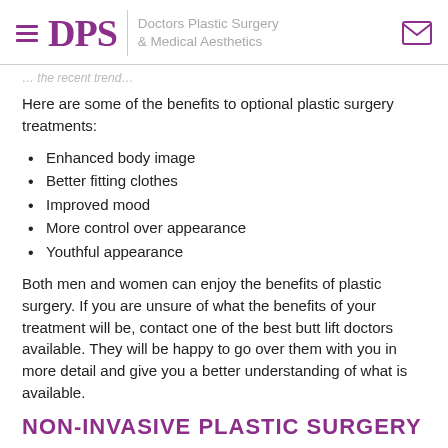DPS | Doctors Plastic Surgery & Medical Aesthetics
… the recent trend…
Here are some of the benefits to optional plastic surgery treatments:
Enhanced body image
Better fitting clothes
Improved mood
More control over appearance
Youthful appearance
Both men and women can enjoy the benefits of plastic surgery. If you are unsure of what the benefits of your treatment will be, contact one of the best butt lift doctors available. They will be happy to go over them with you in more detail and give you a better understanding of what is available.
NON-INVASIVE PLASTIC SURGERY